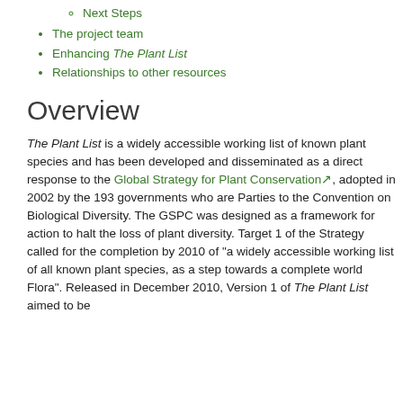Online Publication of The Plant List
Next Steps
The project team
Enhancing The Plant List
Relationships to other resources
Overview
The Plant List is a widely accessible working list of known plant species and has been developed and disseminated as a direct response to the Global Strategy for Plant Conservation↗, adopted in 2002 by the 193 governments who are Parties to the Convention on Biological Diversity. The GSPC was designed as a framework for action to halt the loss of plant diversity. Target 1 of the Strategy called for the completion by 2010 of “a widely accessible working list of all known plant species, as a step towards a complete world Flora”. Released in December 2010, Version 1 of The Plant List aimed to be